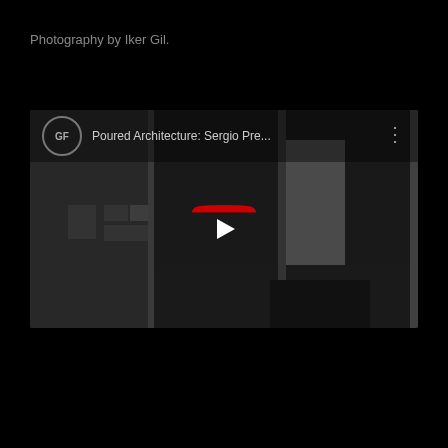Photography by Iker Gil.
[Figure (screenshot): Embedded YouTube video player showing 'Poured Architecture: Sergio Pre...' with a dark architectural interior hallway scene and YouTube play button overlay. Channel avatar shows 'GF' initials.]